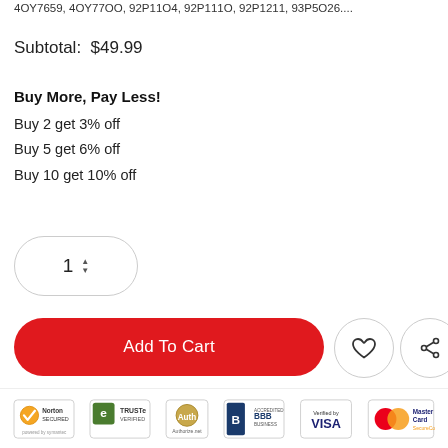4OY7659, 4OY77OO, 92P11O4, 92P111O, 92P1211, 93P5O26....
Subtotal:  $49.99
Buy More, Pay Less!
Buy 2 get 3% off
Buy 5 get 6% off
Buy 10 get 10% off
[Figure (other): Quantity selector spinner showing value 1 with up/down arrows, inside a rounded rectangle border]
[Figure (other): Add To Cart red pill-shaped button, heart icon circle button, and share icon circle button]
[Figure (other): Trust badges bar: Norton Secured, TRUSTe Verified, Authorize.net, BBB Accredited Business, Verified by Visa, MasterCard SecureCode]